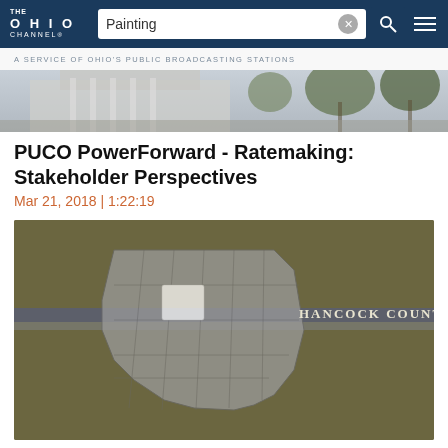THE OHIO CHANNEL | Painting [search] | ☰
A SERVICE OF OHIO'S PUBLIC BROADCASTING STATIONS
[Figure (photo): Exterior photo of Ohio statehouse building with trees]
PUCO PowerForward - Ratemaking: Stakeholder Perspectives
Mar 21, 2018 | 1:22:19
[Figure (screenshot): Video frame showing Ohio county map with Hancock County highlighted in white, on olive/tan background with 'HANCOCK COUNTY' text label]